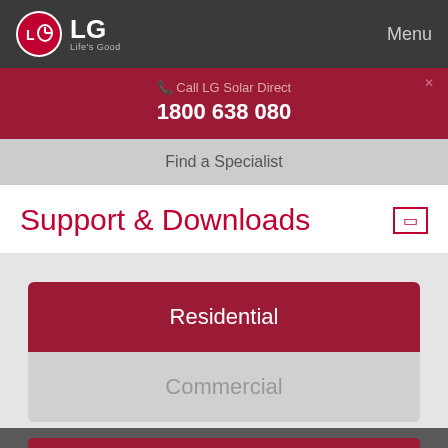LG Life's Good | Menu
📞 Call LG Solar Direct
1800 638 080
Find a Specialist
Support & Downloads
Residential
Commercial
Request a Quote
Call Dealer
1800 042 568
Call Battery
1300 178 064